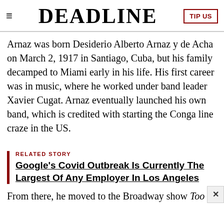DEADLINE
Arnaz was born Desiderio Alberto Arnaz y de Acha on March 2, 1917 in Santiago, Cuba, but his family decamped to Miami early in his life. His first career was in music, where he worked under band leader Xavier Cugat. Arnaz eventually launched his own band, which is credited with starting the Conga line craze in the US.
RELATED STORY
Google's Covid Outbreak Is Currently The Largest Of Any Employer In Los Angeles
From there, he moved to the Broadway show Too Many Girls, la